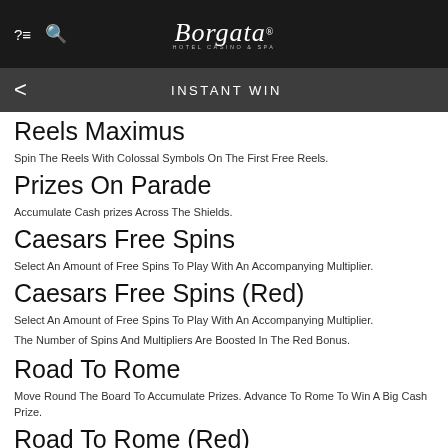Borgata Hotel Casino & Spa
INSTANT WIN
Reels Maximus
Spin The Reels With Colossal Symbols On The First Free Reels.
Prizes On Parade
Accumulate Cash prizes Across The Shields.
Caesars Free Spins
Select An Amount of Free Spins To Play With An Accompanying Multiplier.
Caesars Free Spins (Red)
Select An Amount of Free Spins To Play With An Accompanying Multiplier.
The Number of Spins And Multipliers Are Boosted In The Red Bonus.
Road To Rome
Move Round The Board To Accumulate Prizes. Advance To Rome To Win A Big Cash Prize.
Road To Rome (Red)
Move Round The Board To Accumulate Prizes. Advance To Rome To Win A